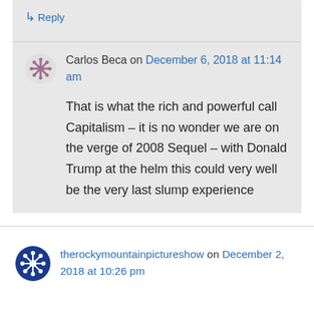↳ Reply
Carlos Beca on December 6, 2018 at 11:14 am
That is what the rich and powerful call Capitalism – it is no wonder we are on the verge of 2008 Sequel – with Donald Trump at the helm this could very well be the very last slump experience
therockymountainpictureshow on December 2, 2018 at 10:26 pm